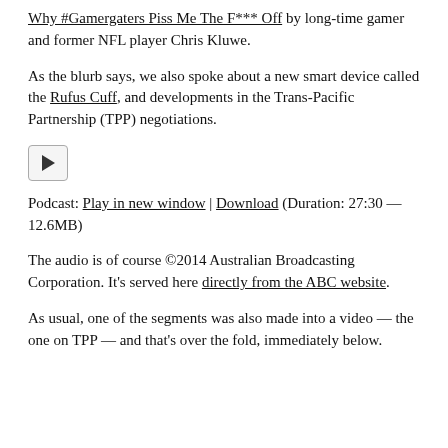Why #Gamergaters Piss Me The F*** Off by long-time gamer and former NFL player Chris Kluwe.
As the blurb says, we also spoke about a new smart device called the Rufus Cuff, and developments in the Trans-Pacific Partnership (TPP) negotiations.
[Figure (other): Audio player play button (triangle icon in a rounded square button)]
Podcast: Play in new window | Download (Duration: 27:30 — 12.6MB)
The audio is of course ©2014 Australian Broadcasting Corporation. It's served here directly from the ABC website.
As usual, one of the segments was also made into a video — the one on TPP — and that's over the fold, immediately below.